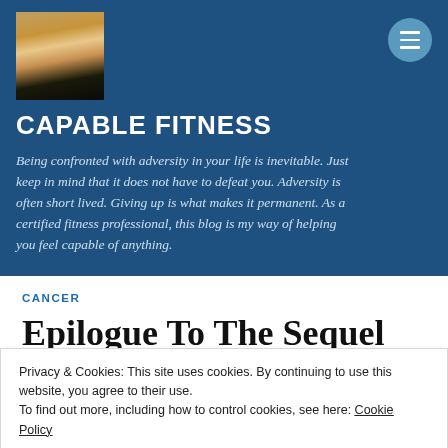[Figure (photo): Profile photo of a blonde woman in a dark turtleneck]
CAPABLE FITNESS
Being confronted with adversity in your life is inevitable. Just keep in mind that it does not have to defeat you. Adversity is often short lived. Giving up is what makes it permanent. As a certified fitness professional, this blog is my way of helping you feel capable of anything.
CANCER
Epilogue To The Sequel Of
Privacy & Cookies: This site uses cookies. By continuing to use this website, you agree to their use.
To find out more, including how to control cookies, see here: Cookie Policy
Close and accept